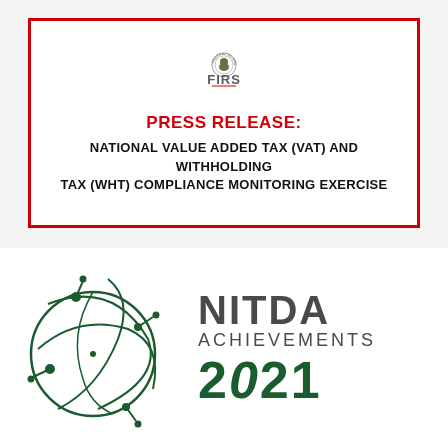[Figure (logo): FIRS Federal Inland Revenue Service logo with circular emblem and 'FIRS' text]
PRESS RELEASE:
NATIONAL VALUE ADDED TAX (VAT) AND WITHHOLDING TAX (WHT) COMPLIANCE MONITORING EXERCISE
[Figure (logo): NITDA Achievements 2021 logo with green globe/network graphic and bold text]